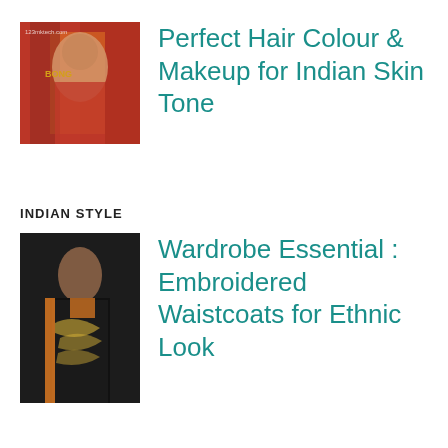[Figure (photo): Woman in red/orange Indian saree at a fashion event]
Perfect Hair Colour & Makeup for Indian Skin Tone
INDIAN STYLE
[Figure (photo): Woman in black embroidered waistcoat with orange outfit]
Wardrobe Essential : Embroidered Waistcoats for Ethnic Look